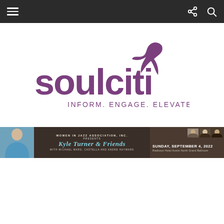Navigation bar with menu, share, and search icons
[Figure (logo): SoulCiti logo — stylized lowercase 'soulciti' in purple with a purple dove/bird mark above and to the right, tagline 'INFORM. ENGAGE. ELEVATE.' below]
[Figure (infographic): Banner ad: Women in Jazz Association, Inc. Presents Kyle Turner & Friends with Michael Ward, Castella and Andre Hayward. Sunday, September 4, 2022, Radisson Hotel Austin North Grand Ballroom. Features photo of Kyle Turner on left and musician photos on right.]